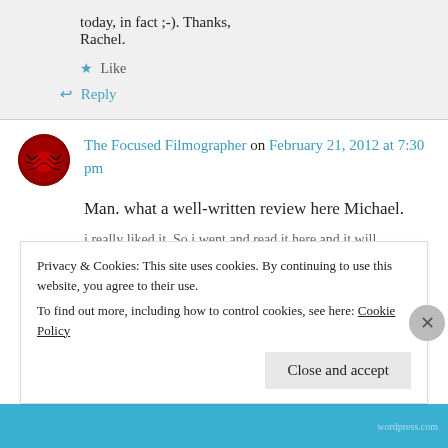today, in fact ;-). Thanks, Rachel.
Like
Reply
The Focused Filmographer on February 21, 2012 at 7:30 pm
Man. what a well-written review here Michael.
Privacy & Cookies: This site uses cookies. By continuing to use this website, you agree to their use. To find out more, including how to control cookies, see here: Cookie Policy
Close and accept